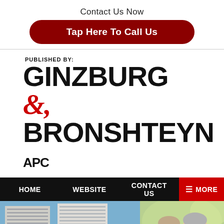Contact Us Now
Tap Here To Call Us
PUBLISHED BY:
GINZBURG & BRONSHTEYN APC
HOME   WEBSITE   CONTACT US   MORE
[Figure (photo): Photo of Westwood Gateway office building and an elderly couple smiling]